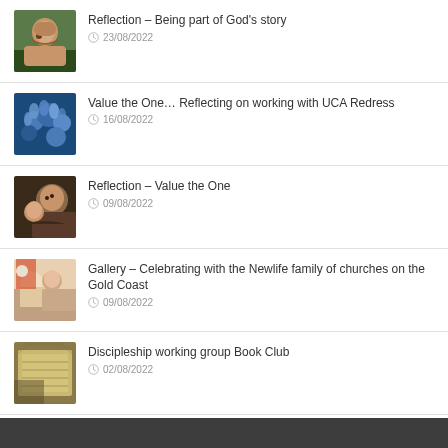Reflection – Being part of God's story | 23/08/2022
Value the One… Reflecting on working with UCA Redress | 16/08/2022
Reflection – Value the One | 09/08/2022
Gallery – Celebrating with the Newlife family of churches on the Gold Coast | 09/08/2022
Discipleship working group Book Club | 02/08/2022